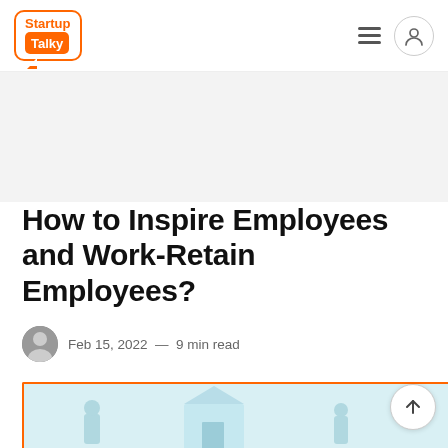StartupTalky
How to Inspire Employees and Work-Retain Employees?
Feb 15, 2022 — 9 min read
[Figure (illustration): Partial view of an article hero image with light blue background and orange border, content not fully visible]